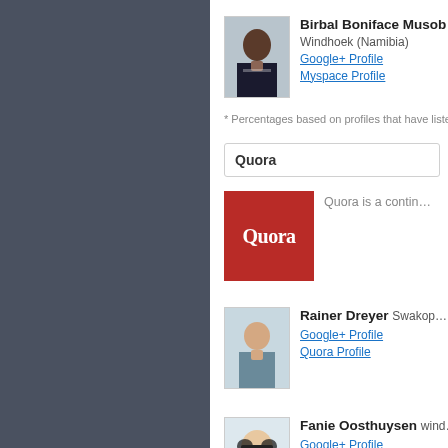[Figure (photo): Profile photo of Birbal Boniface Musob, man in suit]
Birbal Boniface Musob
Windhoek (Namibia)
Google+ Profile
Myspace Profile
* Percentages based on profiles that have liste...
Quora
[Figure (logo): Quora logo: red square with white Quora text]
Quora is a contin...
[Figure (photo): Profile photo of Rainer Dreyer]
Rainer Dreyer Swakop...
Google+ Profile
Quora Profile
[Figure (photo): Profile photo of Fanie Oosthuysen, child with headphones]
Fanie Oosthuysen wind...
Google+ Profile
Quora Profile